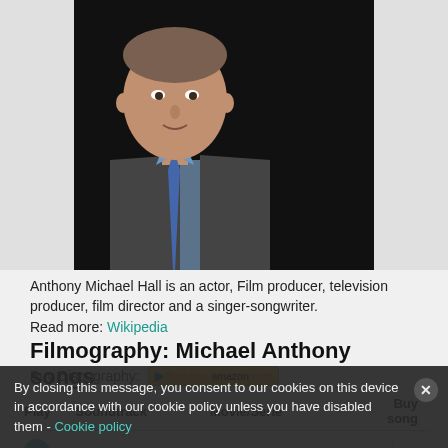[Figure (photo): Photo of Anthony Michael Hall, a man in a gray suit and blue shirt with a tie, against a dark background.]
Anthony Michael Hall is an actor, Film producer, television producer, film director and a singer-songwriter.
Read more: Wikipedia
Filmography: Michael Anthony songs
Buy Discography: [Amazon buy link button]
| Play | Soundtrack | Movie/Serie | Buy song |
| --- | --- | --- | --- |
| ▶ | Hot For Teacher | The World's Greatest | a |
| ▶ | Dance the Night Price FF | Van Halen Live Without a Net | a |
By closing this message, you consent to our cookies on this device in accordance with our cookie policy unless you have disabled them - Cookie policy